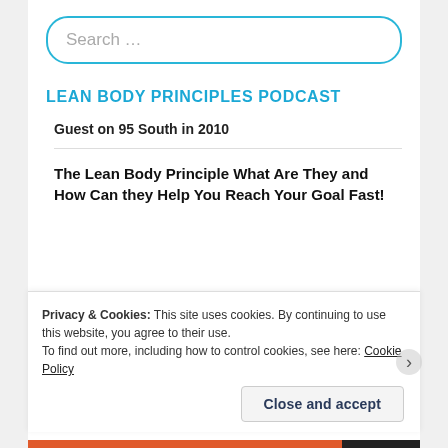Search …
LEAN BODY PRINCIPLES PODCAST
Guest on 95 South in 2010
The Lean Body Principle What Are They and How Can they Help You Reach Your Goal Fast!
Privacy & Cookies: This site uses cookies. By continuing to use this website, you agree to their use.
To find out more, including how to control cookies, see here: Cookie Policy
Close and accept